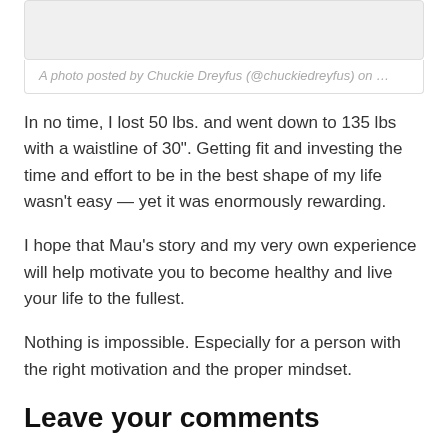[Figure (photo): Embedded Instagram photo placeholder box with caption]
A photo posted by Chuckie Dreyfus (@chuckiedreyfus) on …
In no time, I lost 50 lbs. and went down to 135 lbs with a waistline of 30". Getting fit and investing the time and effort to be in the best shape of my life wasn't easy — yet it was enormously rewarding.
I hope that Mau's story and my very own experience will help motivate you to become healthy and live your life to the fullest.
Nothing is impossible. Especially for a person with the right motivation and the proper mindset.
Leave your comments